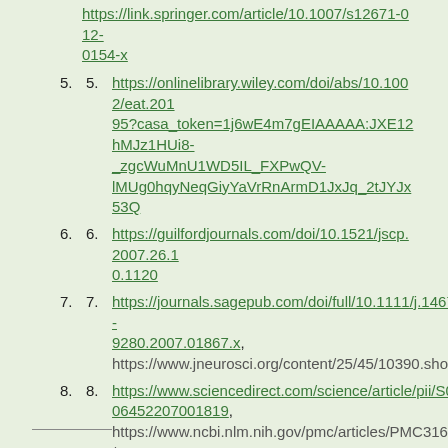(continuation) https://link.springer.com/article/10.1007/s12671-012-0154-x
5. https://onlinelibrary.wiley.com/doi/abs/10.1002/eat.20195?casa_token=1j6wE4m7gEIAAAAA:JXE12hMJz1HUi8-_zgcWuMnU1WD5IL_FXPwQV-lMUg0hqyNeqGiyYaVrRnArmD1JxJq_2tJYJx53Q
6. https://guilfordjournals.com/doi/10.1521/jscp.2007.26.10.1120
7. https://journals.sagepub.com/doi/full/10.1111/j.1467-9280.2007.01867.x, https://www.jneurosci.org/content/25/45/10390.short
8. https://www.sciencedirect.com/science/article/pii/S0306452207001819, https://www.ncbi.nlm.nih.gov/pmc/articles/PMC3167012/
9. https://www.karger.com/Article/Abstract/322702
___